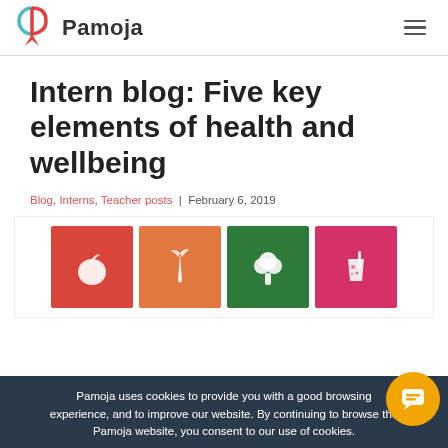Pamoja
Intern blog: Five key elements of health and wellbeing
Blog, Interns, Teacher posts | February 6, 2019
[Figure (illustration): Four colored icon boxes: red with apple icon, orange with carrot icon, green with broccoli icon, pink with drink/cup icon]
Pamoja uses cookies to provide you with a good browsing experience, and to improve our website. By continuing to browse the Pamoja website, you consent to our use of cookies.